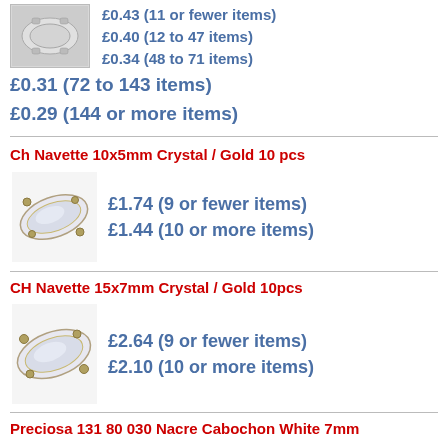[Figure (photo): Small silver crystal/rhinestone component sew-on piece]
£0.43 (11 or fewer items)
£0.40 (12 to 47 items)
£0.34 (48 to 71 items)
£0.31 (72 to 143 items)
£0.29 (144 or more items)
Ch Navette 10x5mm Crystal / Gold 10 pcs
[Figure (photo): Navette crystal in gold setting, 10x5mm]
£1.74 (9 or fewer items)
£1.44 (10 or more items)
CH Navette 15x7mm Crystal / Gold 10pcs
[Figure (photo): Navette crystal in gold setting, 15x7mm]
£2.64 (9 or fewer items)
£2.10 (10 or more items)
Preciosa 131 80 030 Nacre Cabochon White 7mm